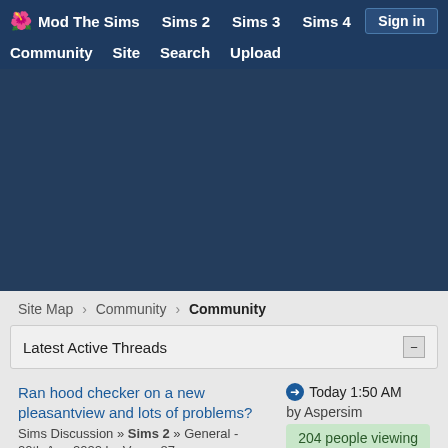Mod The Sims  Sims 2  Sims 3  Sims 4  Sign in  Community  Site  Search  Upload
[Figure (other): Large dark blue advertisement/banner area placeholder]
Site Map > Community > Community
Latest Active Threads
Ran hood checker on a new pleasantview and lots of problems?
Sims Discussion » Sims 2 » General - 20th Aug 2022 by Vrman87
Today 1:50 AM by Aspersim
204 people viewing